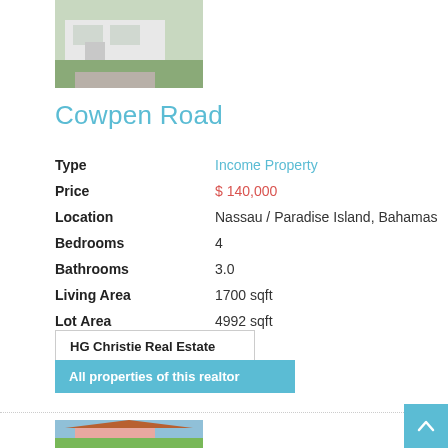[Figure (photo): Exterior photo of a white building/house under construction with overgrown grass in front]
Cowpen Road
| Type | Income Property |
| Price | $ 140,000 |
| Location | Nassau / Paradise Island, Bahamas |
| Bedrooms | 4 |
| Bathrooms | 3.0 |
| Living Area | 1700 sqft |
| Lot Area | 4992 sqft |
HG Christie Real Estate
All properties of this realtor
[Figure (photo): Exterior photo of a pink house with orange roof and trees]